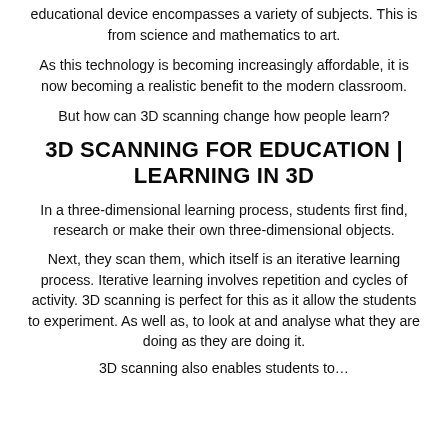educational device encompasses a variety of subjects. This is from science and mathematics to art.
As this technology is becoming increasingly affordable, it is now becoming a realistic benefit to the modern classroom.
But how can 3D scanning change how people learn?
3D SCANNING FOR EDUCATION | LEARNING IN 3D
In a three-dimensional learning process, students first find, research or make their own three-dimensional objects.
Next, they scan them, which itself is an iterative learning process. Iterative learning involves repetition and cycles of activity. 3D scanning is perfect for this as it allow the students to experiment. As well as, to look at and analyse what they are doing as they are doing it.
3D scanning also enables students to...